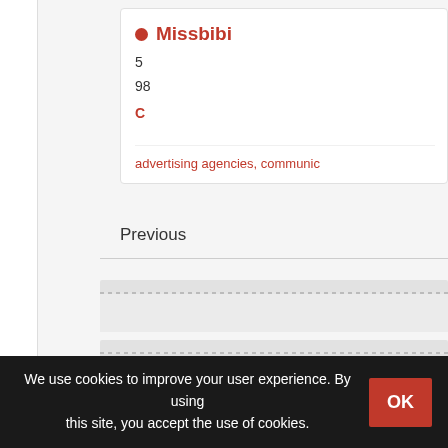Missbibi
5
98
C
advertising agencies, communic
Previous
We use cookies to improve your user experience. By using this site, you accept the use of cookies.